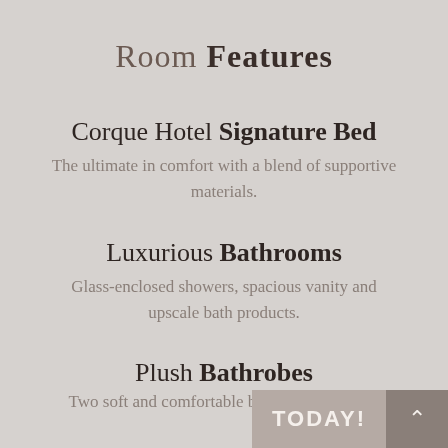Room Features
Corque Hotel Signature Bed
The ultimate in comfort with a blend of supportive materials.
Luxurious Bathrooms
Glass-enclosed showers, spacious vanity and upscale bath products.
Plush Bathrobes
Two soft and comfortable bathrobes available